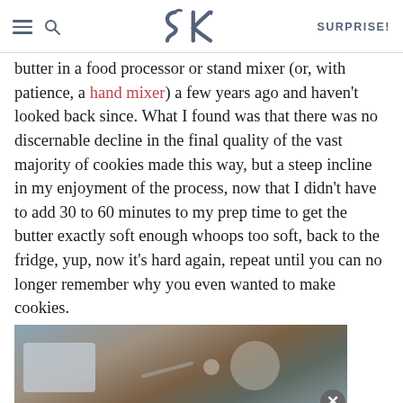SK — SURPRISE!
butter in a food processor or stand mixer (or, with patience, a hand mixer) a few years ago and haven't looked back since. What I found was that there was no discernable decline in the final quality of the vast majority of cookies made this way, but a steep incline in my enjoyment of the process, now that I didn't have to add 30 to 60 minutes to my prep time to get the butter exactly soft enough whoops too soft, back to the fridge, yup, now it's hard again, repeat until you can no longer remember why you even wanted to make cookies.
[Figure (photo): Close-up photo of kitchen equipment on a wooden surface, partially obscured by an advertisement overlay at the bottom reading 'Discover the unsearchable / DiscoverTheForest.org']